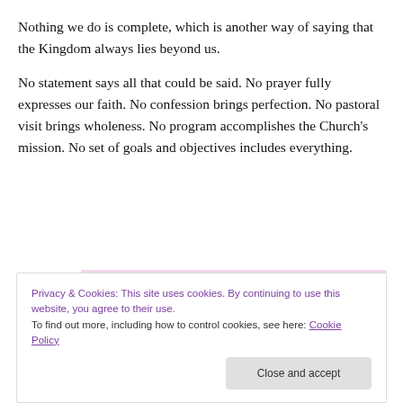Nothing we do is complete, which is another way of saying that the Kingdom always lies beyond us.
No statement says all that could be said. No prayer fully expresses our faith. No confession brings perfection. No pastoral visit brings wholeness. No program accomplishes the Church's mission. No set of goals and objectives includes everything.
[Figure (screenshot): Pink/mauve background area with a dark purple 'Start Today' button and a partial outline button below]
Privacy & Cookies: This site uses cookies. By continuing to use this website, you agree to their use.
To find out more, including how to control cookies, see here: Cookie Policy
Close and accept